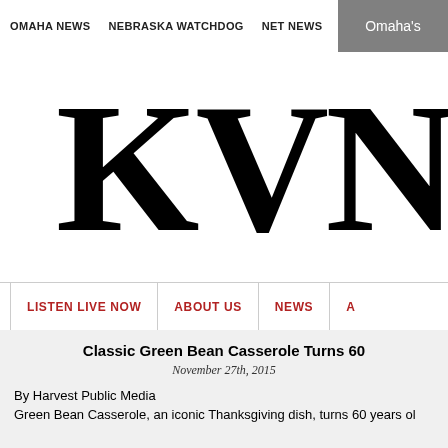Omaha's
OMAHA NEWS   NEBRASKA WATCHDOG   NET NEWS
KVNO
LISTEN LIVE NOW   ABOUT US   NEWS
Classic Green Bean Casserole Turns 60
November 27th, 2015
By Harvest Public Media
Green Bean Casserole, an iconic Thanksgiving dish, turns 60 years ol